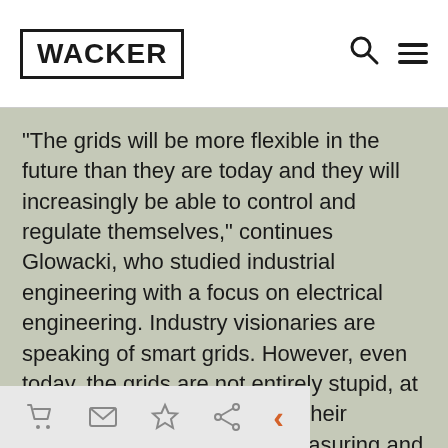WACKER
“The grids will be more flexible in the future than they are today and they will increasingly be able to control and regulate themselves,” continues Glowacki, who studied industrial engineering with a focus on electrical engineering. Industry visionaries are speaking of smart grids. However, even today, the grids are not entirely stupid, at least not high-voltage ones. Their switching stations contain measuring and sensor technology that continuously supplies up-to-date information – for example about the voltage, current or digital information and